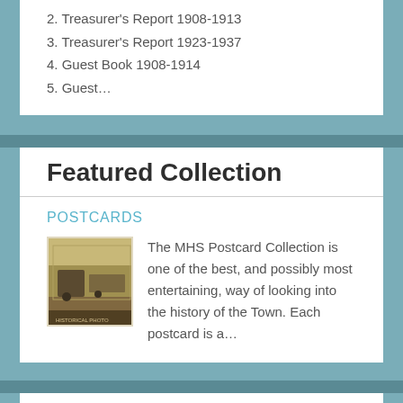2. Treasurer's Report 1908-1913
3. Treasurer's Report 1923-1937
4. Guest Book 1908-1914
5. Guest…
Featured Collection
POSTCARDS
[Figure (photo): Sepia-toned historical postcard photograph showing a group of people with a vehicle in front of a building]
The MHS Postcard Collection is one of the best, and possibly most entertaining, way of looking into the history of the Town. Each postcard is a…
Recently Added Items